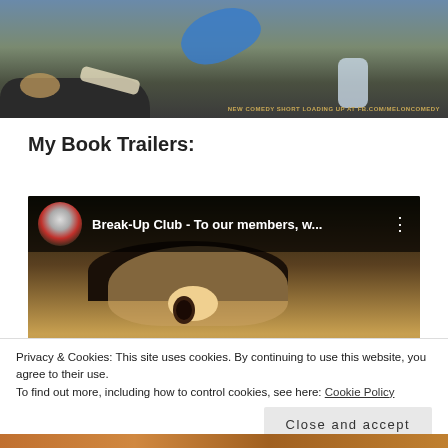[Figure (photo): Top portion of a beach/debris cleanup scene with blue glove and scattered trash. Text overlay reads: NEW COMEDY SHORT LOADING UP AT FB.COM/MELONCOMEDY]
My Book Trailers:
[Figure (screenshot): Embedded YouTube-style video player showing 'Break-Up Club - To our members, w...' with a watermelon channel icon and a close-up of a person's face, with a red play button]
Privacy & Cookies: This site uses cookies. By continuing to use this website, you agree to their use.
To find out more, including how to control cookies, see here: Cookie Policy
Close and accept